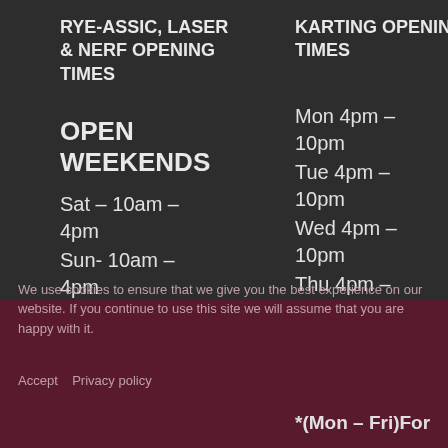RYE-ASSIC, LASER & NERF OPENING TIMES
KARTING OPENING TIMES
OPEN WEEKENDS
Sat – 10am – 4pm
Sun- 10am – 4pm
Mon 4pm – 10pm
Tue 4pm – 10pm
Wed 4pm – 10pm
Thu 4pm – 10pm
Fri 4pm – 10pm
Sat 10am – 10pm
Sun 10am – 10pm
*(Mon – Fri)For
We use cookies to ensure that we give you the best experience on our website. If you continue to use this site we will assume that you are happy with it.
Accept   Privacy policy